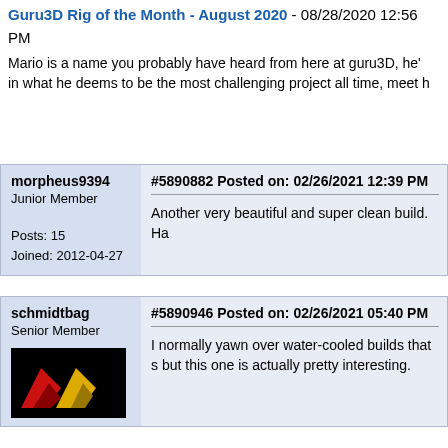Guru3D Rig of the Month - August 2020 - 08/28/2020 12:56 PM
Mario is a name you probably have heard from here at guru3D, he's in what he deems to be the most challenging project all time, meet h
morpheus9394
Junior Member
Posts: 15
Joined: 2012-04-27
#5890882 Posted on: 02/26/2021 12:39 PM
Another very beautiful and super clean build. Ha
schmidtbag
Senior Member
#5890946 Posted on: 02/26/2021 05:40 PM
I normally yawn over water-cooled builds that s but this one is actually pretty interesting.